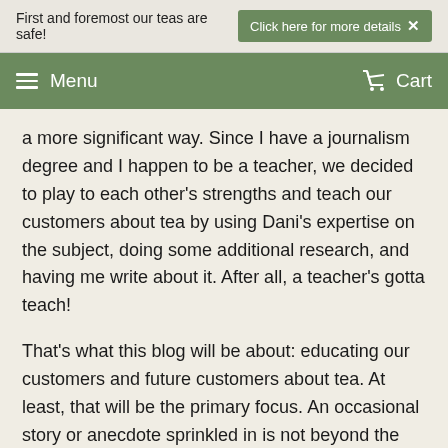First and foremost our teas are safe!   Click here for more details ×
Menu   Cart
a more significant way. Since I have a journalism degree and I happen to be a teacher, we decided to play to each other's strengths and teach our customers about tea by using Dani's expertise on the subject, doing some additional research, and having me write about it. After all, a teacher's gotta teach!
That's what this blog will be about: educating our customers and future customers about tea. At least, that will be the primary focus. An occasional story or anecdote sprinkled in is not beyond the realm of possibility as well as telling you about new teas and products that you will enjoy.
Many of you are very knowledgeable about tea already.